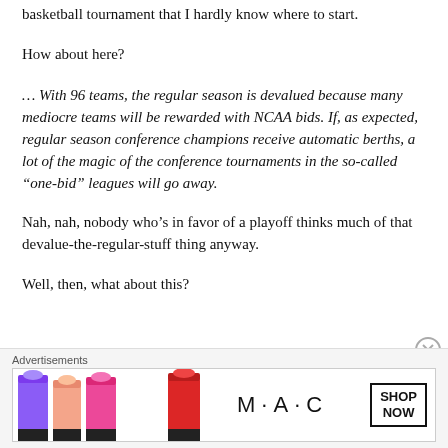basketball tournament that I hardly know where to start.
How about here?
… With 96 teams, the regular season is devalued because many mediocre teams will be rewarded with NCAA bids. If, as expected, regular season conference champions receive automatic berths, a lot of the magic of the conference tournaments in the so-called “one-bid” leagues will go away.
Nah, nah, nobody who’s in favor of a playoff thinks much of that devalue-the-regular-stuff thing anyway.
Well, then, what about this?
[Figure (other): MAC cosmetics advertisement banner showing lipsticks and MAC logo with SHOP NOW button]